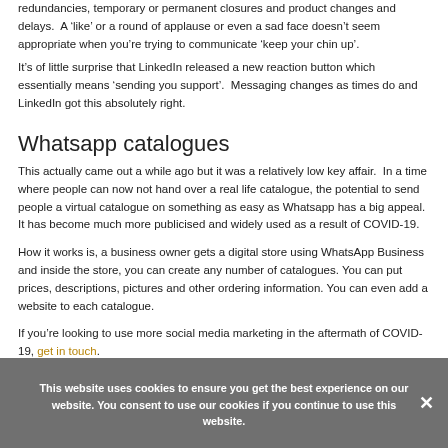redundancies, temporary or permanent closures and product changes and delays.  A 'like' or a round of applause or even a sad face doesn't seem appropriate when you're trying to communicate 'keep your chin up'.
It's of little surprise that LinkedIn released a new reaction button which essentially means 'sending you support'.  Messaging changes as times do and LinkedIn got this absolutely right.
Whatsapp catalogues
This actually came out a while ago but it was a relatively low key affair.  In a time where people can now not hand over a real life catalogue, the potential to send people a virtual catalogue on something as easy as Whatsapp has a big appeal.  It has become much more publicised and widely used as a result of COVID-19.
How it works is, a business owner gets a digital store using WhatsApp Business and inside the store, you can create any number of catalogues. You can put prices, descriptions, pictures and other ordering information. You can even add a website to each catalogue.
If you're looking to use more social media marketing in the aftermath of COVID-19, get in touch.
This website uses cookies to ensure you get the best experience on our website. You consent to use our cookies if you continue to use this website.